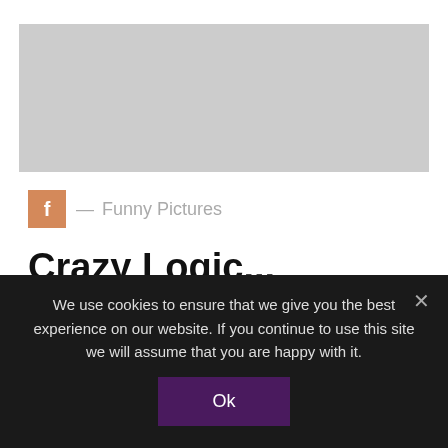[Figure (other): Gray placeholder image area at the top of the page]
f — Funny Pictures
Crazy Logic...
by admin · September 18, 2013 · 796 views · No comments
We use cookies to ensure that we give you the best experience on our website. If you continue to use this site we will assume that you are happy with it.